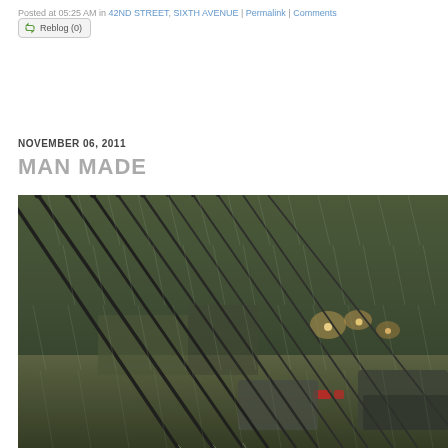Posted at 05:25 AM in 42ND STREET, SIXTH AVENUE | Permalink | Comments
Reblog (0)
NOVEMBER 06, 2011
MAN MADE
[Figure (photo): A rainy urban scene with diagonal metal poles or fishing rods extending across the frame, heavy rain falling, blurred city lights and vehicles including a truck visible in the background, dark green/grey tones throughout]